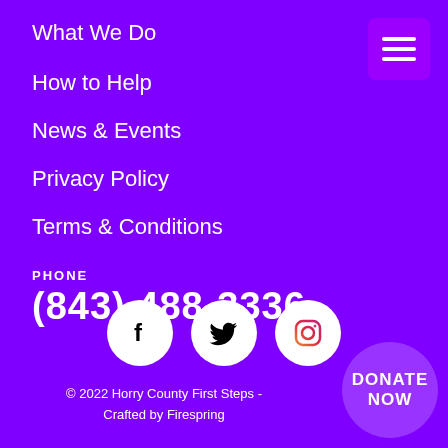What We Do
How to Help
News & Events
Privacy Policy
Terms & Conditions
[Figure (illustration): Hamburger menu icon (three horizontal white lines) on purple rounded rectangle background, top right corner]
[Figure (illustration): Three white circular social media icons: Facebook, Twitter, Instagram]
PHONE
(843) 488-3336
© 2022 Horry County First Steps - Crafted by Firespring
[Figure (illustration): DONATE NOW button as a purple circle, bottom right corner]